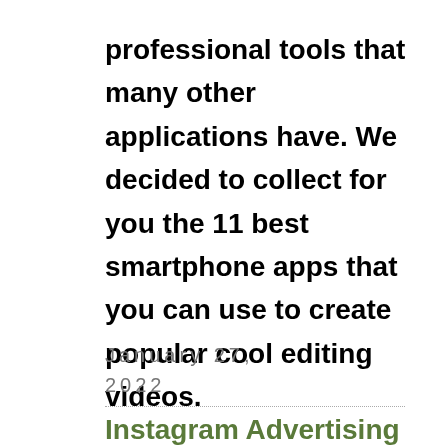professional tools that many other applications have. We decided to collect for you the 11 best smartphone apps that you can use to create popular cool editing videos.
(more…)
Comments (0)
January 27, 2022
Instagram Advertising : Complete Guide With 6 Most Effective